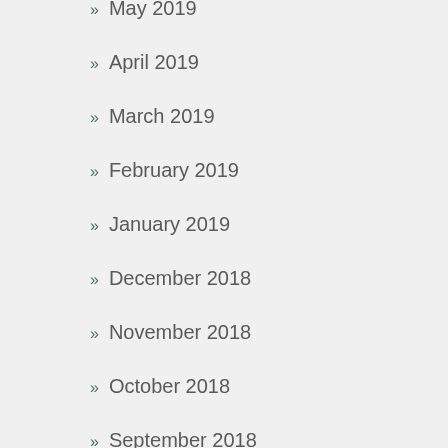» May 2019
» April 2019
» March 2019
» February 2019
» January 2019
» December 2018
» November 2018
» October 2018
» September 2018
» August 2018